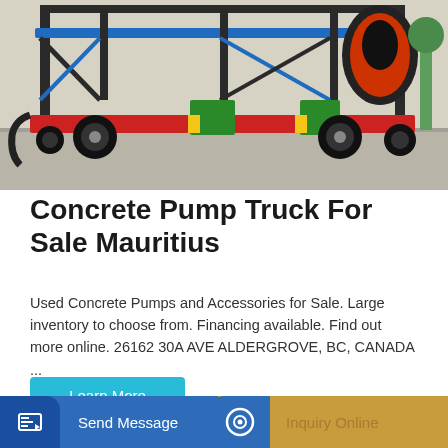[Figure (photo): A concrete pump truck on a flatbed trailer parked on a concrete surface. The machine has a red and green frame with black and blue structural elements and large tires.]
Concrete Pump Truck For Sale Mauritius
Used Concrete Pumps and Accessories for Sale. Large inventory to choose from. Financing available. Find out more online. 26162 30A AVE ALDERGROVE, BC, CANADA ...
Learn More
[Figure (photo): Partial yellow background image at bottom of page, showing the top of what appears to be a product/service advertisement panel.]
Send Message   Inquiry Online